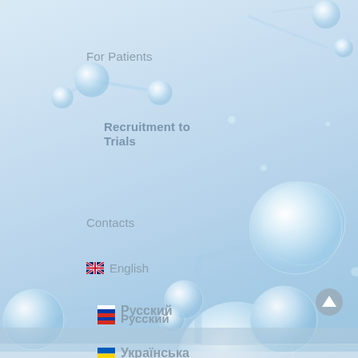[Figure (illustration): 3D molecular/atomic structure illustration with transparent glass-like spheres connected by rods on a light blue gradient background, resembling water molecules or chemical compounds. Decorative background for a medical/pharmaceutical website navigation page.]
For Patients
Recruitment to Trials
Contacts
🇬🇧 English
🇷🇺 Русский
🇺🇦 Українська
🇬🇧 English